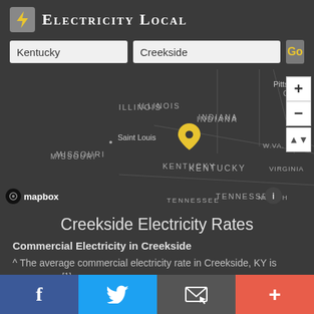Electricity Local
Kentucky | Creekside | Go
[Figure (map): Dark map showing central/eastern United States with states labeled: Illinois, Indiana, Ohio, Missouri, Kentucky, W.VA., Virginia, Tennessee, North. Cities labeled: Pittsburgh, Saint Louis. Yellow location pin placed over Kentucky. Map controls (zoom +/-) on right side. Mapbox logo at bottom left.]
Creekside Electricity Rates
Commercial Electricity in Creekside
^ The average commercial electricity rate in Creekside, KY is 8.34¢/kWh.[1]